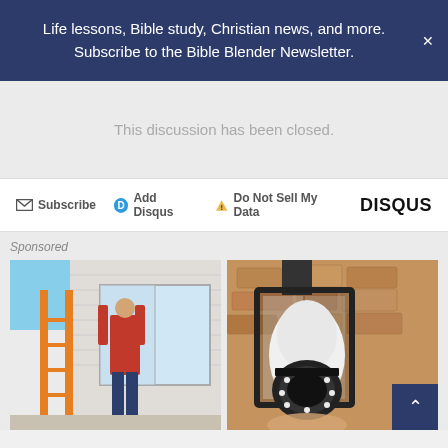Life lessons, Bible study, Christian news, and more. Subscribe to the Bible Blender Newsletter. ×
This discussion has been closed.
Subscribe  Add Disqus  Do Not Sell My Data  DISQUS
Sponsored
[Figure (photo): Person on orange ladder installing a window on a house exterior]
[Figure (photo): Security camera shaped like a light bulb installed in an outdoor wall lantern fixture]